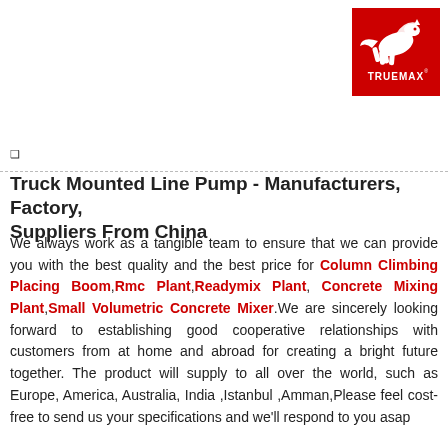[Figure (logo): Truemax logo — red square background with white leaping horse/pegasus figure and white text TRUEMAX below]
❑
Truck Mounted Line Pump - Manufacturers, Factory, Suppliers From China
We always work as a tangible team to ensure that we can provide you with the best quality and the best price for Column Climbing Placing Boom, Rmc Plant, Readymix Plant, Concrete Mixing Plant, Small Volumetric Concrete Mixer. We are sincerely looking forward to establishing good cooperative relationships with customers from at home and abroad for creating a bright future together. The product will supply to all over the world, such as Europe, America, Australia, India ,Istanbul ,Amman,Please feel cost-free to send us your specifications and we'll respond to you asap